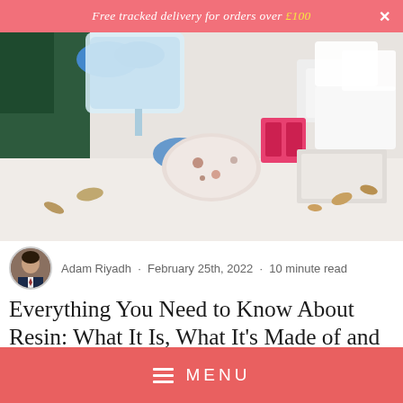Free tracked delivery for orders over £100
[Figure (photo): Person wearing blue gloves pouring liquid from a plastic container into molds on a table covered with various resin molds, dried flowers, and craft supplies]
Adam Riyadh · February 25th, 2022 · 10 minute read
Everything You Need to Know About Resin: What It Is, What It's Made of and the Different Uses for It